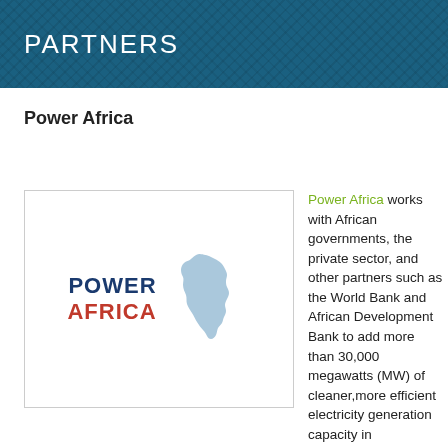PARTNERS
Power Africa
[Figure (logo): Power Africa logo: bold navy text 'POWER' and red text 'AFRICA' beside a light blue silhouette map of Africa]
Power Africa works with African governments, the private sector, and other partners such as the World Bank and African Development Bank to add more than 30,000 megawatts (MW) of cleaner,more efficient electricity generation capacity in